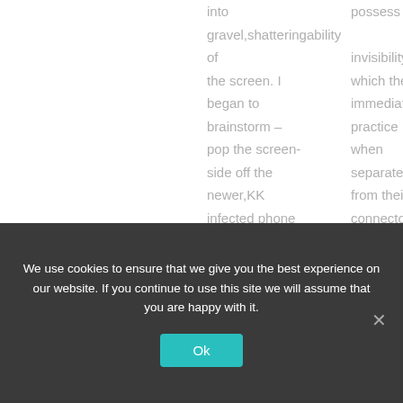into gravel,shatteringability of the screen. I began to brainstorm – pop the screen-side off the newer,KK infected phone & put it on the older unit... It was rooted tho
possess the e invisibility which they immediately practice when separated from their connector! :). Any chance u can point me
We use cookies to ensure that we give you the best experience on our website. If you continue to use this site we will assume that you are happy with it.